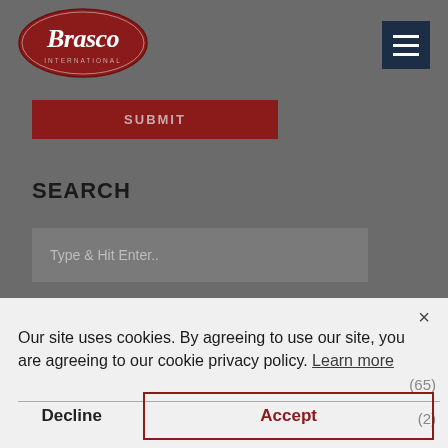[Figure (logo): Brasco International oval red logo with white script lettering]
[Figure (other): Dark navy hamburger menu icon with three horizontal white lines]
SUBMIT
SEARCH
Type & Hit Enter..
× Our site uses cookies. By agreeing to use our site, you are agreeing to our cookie privacy policy. Learn more
(65)
(2)
Decline
Accept